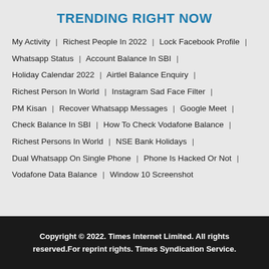TRENDING RIGHT NOW
My Activity  |  Richest People In 2022  |  Lock Facebook Profile  |  Whatsapp Status  |  Account Balance In SBI  |  Holiday Calendar 2022  |  Airtlel Balance Enquiry  |  Richest Person In World  |  Instagram Sad Face Filter  |  PM Kisan  |  Recover Whatsapp Messages  |  Google Meet  |  Check Balance In SBI  |  How To Check Vodafone Balance  |  Richest Persons In World  |  NSE Bank Holidays  |  Dual Whatsapp On Single Phone  |  Phone Is Hacked Or Not  |  Vodafone Data Balance  |  Window 10 Screenshot
Copyright © 2022. Times Internet Limited. All rights reserved.For reprint rights. Times Syndication Service.